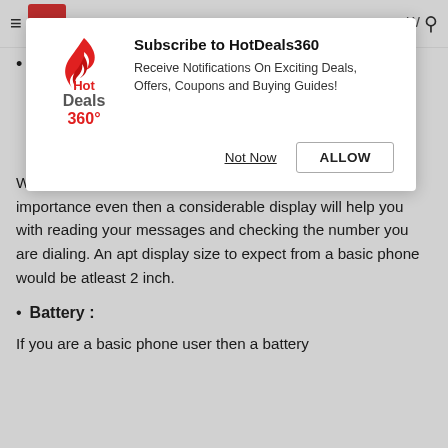[Figure (screenshot): HotDeals360 browser notification subscription popup with logo, title 'Subscribe to HotDeals360', description text, 'Not Now' and 'ALLOW' buttons]
•
When going for a basic phone the display is not of much importance even then a considerable display will help you with reading your messages and checking the number you are dialing. An apt display size to expect from a basic phone would be atleast 2 inch.
• Battery :
If you are a basic phone user then a battery